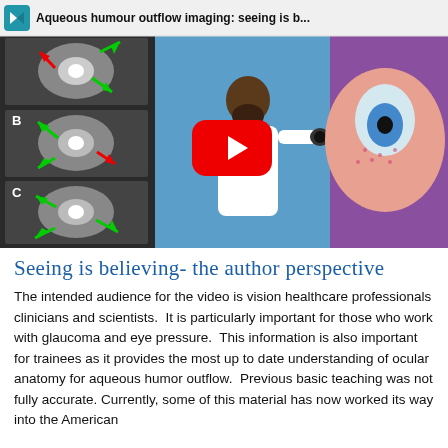[Figure (screenshot): YouTube video thumbnail showing 'Aqueous humour outflow imaging: seeing is b...' with MRI eye scan images labeled A, B, C on the left (with green and red arrows), a YouTube play button in the center, and on the right an illustrated doctor examining a patient and an anatomical eye diagram. The word 'tomography' appears at top right.]
Seeing is believing- the author perspective
The intended audience for the video is vision healthcare professionals clinicians and scientists.  It is particularly important for those who work with glaucoma and eye pressure.  This information is also important for trainees as it provides the most up to date understanding of ocular anatomy for aqueous humor outflow.  Previous basic teaching was not fully accurate. Currently, some of this material has now worked its way into the American